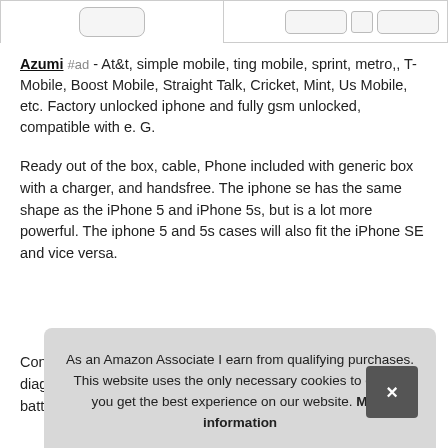[Figure (screenshot): Top portion of a webpage showing two product image boxes side by side with phone and button placeholder shapes]
Azumi #ad - At&t, simple mobile, ting mobile, sprint, metro,, T-Mobile, Boost Mobile, Straight Talk, Cricket, Mint, Us Mobile, etc. Factory unlocked iphone and fully gsm unlocked, compatible with e. G.
Ready out of the box, cable, Phone included with generic box with a charger, and handsfree. The iphone se has the same shape as the iPhone 5 and iPhone 5s, but is a lot more powerful. The iphone 5 and 5s cases will also fit the iPhone SE and vice versa.
Con diag batt
As an Amazon Associate I earn from qualifying purchases. This website uses the only necessary cookies to ensure you get the best experience on our website. More information